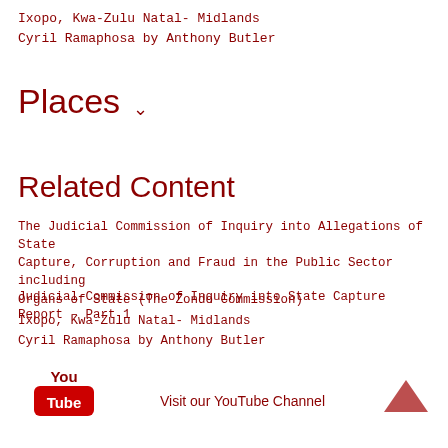Ixopo, Kwa-Zulu Natal- Midlands
Cyril Ramaphosa by Anthony Butler
Places
Related Content
The Judicial Commission of Inquiry into Allegations of State Capture, Corruption and Fraud in the Public Sector including Organs of State (The Zondo Commission)
Judicial Commission of Inquiry into State Capture Report - Part 1
Ixopo, Kwa-Zulu Natal- Midlands
Cyril Ramaphosa by Anthony Butler
[Figure (logo): YouTube logo with red rounded rectangle and white play button]
Visit our YouTube Channel